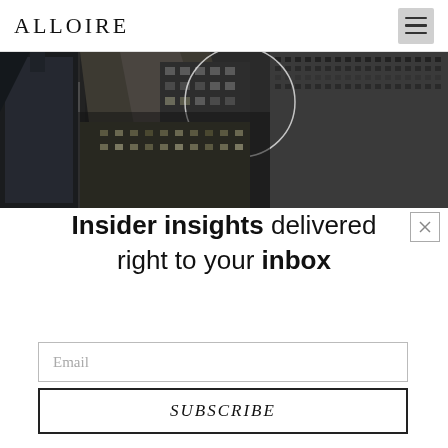ALLOIRE
[Figure (photo): Aerial top-down view of urban city buildings/skyscrapers in muted tones, with a partial white circle overlay in the center]
Insider insights delivered right to your inbox
Email
SUBSCRIBE